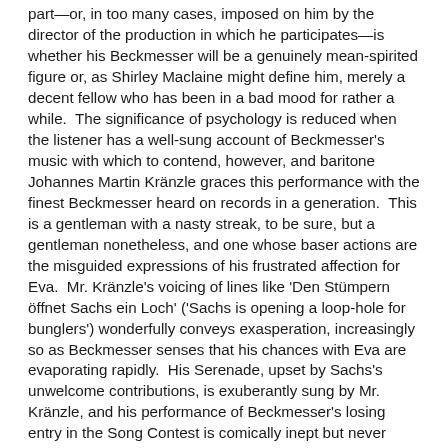part—or, in too many cases, imposed on him by the director of the production in which he participates—is whether his Beckmesser will be a genuinely mean-spirited figure or, as Shirley Maclaine might define him, merely a decent fellow who has been in a bad mood for rather a while.  The significance of psychology is reduced when the listener has a well-sung account of Beckmesser's music with which to contend, however, and baritone Johannes Martin Kränzle graces this performance with the finest Beckmesser heard on records in a generation.  This is a gentleman with a nasty streak, to be sure, but a gentleman nonetheless, and one whose baser actions are the misguided expressions of his frustrated affection for Eva.  Mr. Kränzle's voicing of lines like 'Den Stümpern öffnet Sachs ein Loch' ('Sachs is opening a loop-hole for bunglers') wonderfully conveys exasperation, increasingly so as Beckmesser senses that his chances with Eva are evaporating rapidly.  His Serenade, upset by Sachs's unwelcome contributions, is exuberantly sung by Mr. Kränzle, and his performance of Beckmesser's losing entry in the Song Contest is comically inept but never ugly.  Mr. Kränzle's Beckmesser is snarky, snobbish, and quirky but never truly threatening and certainly not an affront to any